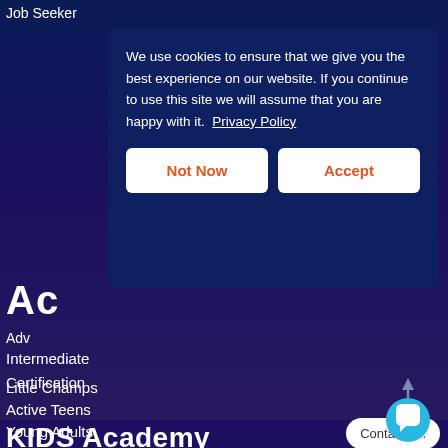Job Seeker
We use cookies to ensure that we give you the best experience on our website. If you continue to use this site we will assume that you are happy with it. Privacy Policy
Not Now
Accept
Ac
Adv
Intermediate
Certification
KIDS Academy
Little Champs
Active Teens
Young Adults
Contact us.